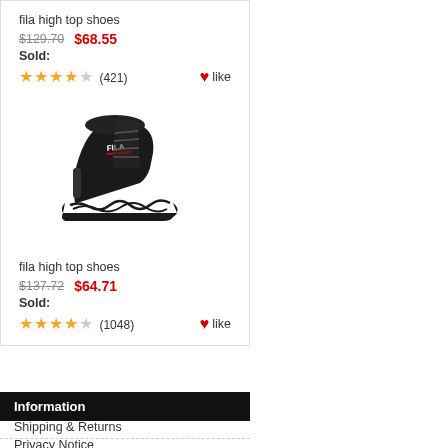fila high top shoes
$129.70  $68.55
Sold:
★★★★☆ (421)  ♥like
[Figure (photo): Black Fila high top basketball shoe with white geometric swirl pattern on the sole side, FILA logo on the upper.]
fila high top shoes
$137.72  $64.71
Sold:
★★★★☆ (1048)  ♥like
Information
Shipping & Returns
Privacy Notice